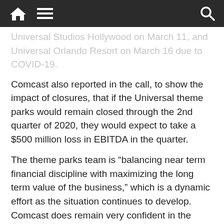[Navigation bar with home icon, menu icon, and search icon]
Universal Studios Hollywood on March 11, and Universal Orlando Resort on March 16 due to COVID-19.
Comcast also reported in the call, to show the impact of closures, that if the Universal theme parks would remain closed through the 2nd quarter of 2020, they would expect to take a $500 million loss in EBITDA in the quarter.
The theme parks team is “balancing near term financial discipline with maximizing the long term value of the business,” which is a dynamic effort as the situation continues to develop. Comcast does remain very confident in the theme parks to generate healthy returns over the long term. Still, Comcast has decided to pause construction of Orlando’s fourth gate, Epic Universe, at its early